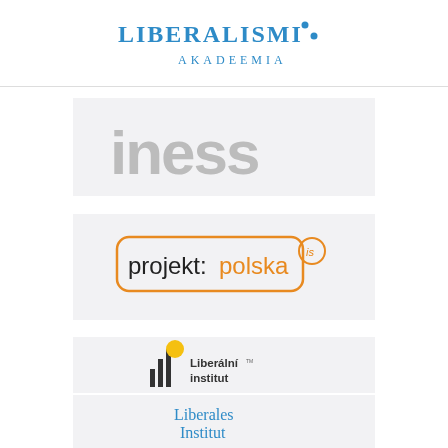[Figure (logo): Liberalismi Akadeemia logo – blue serif text 'LIBERALISMI' with two dots and 'AKADEEMIA' below in smaller caps]
[Figure (logo): INESS logo – large grey bold sans-serif text 'iness' lowercase on light grey background]
[Figure (logo): projekt:polska is logo – black and orange text with a rounded orange rectangle border]
[Figure (logo): Liberalni institut logo – bar chart icon with yellow dot and text 'Liberální institut']
[Figure (logo): Liberales Institut – blue serif text on light background]